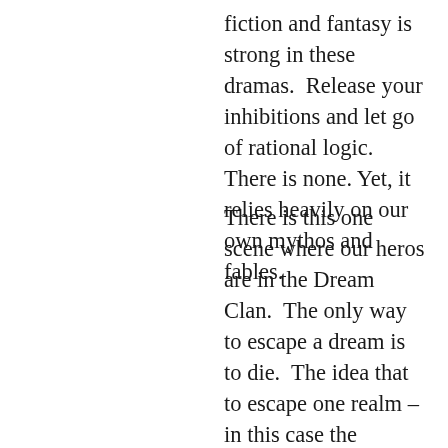fiction and fantasy is strong in these dramas.  Release your inhibitions and let go of rational logic.  There is none. Yet, it relies heavily on our own mythos and fables.
There is this one scene where our heros are in the Dream Clan.  The only way to escape a dream is to die.  The idea that to escape one realm – in this case the subconscious and awaken to another realm – the waking world, is also found in the Australian Aboriginal belief and culture.  Dreamtime is the belief that the world was dreamed into consciousness.